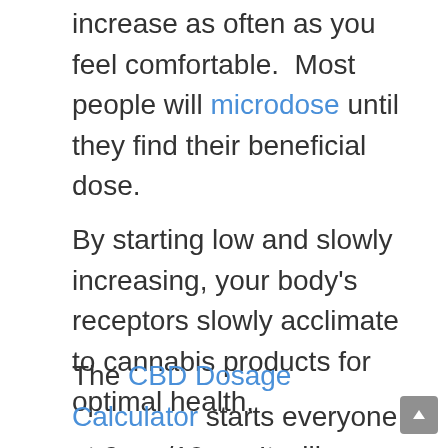increase as often as you feel comfortable.  Most people will microdose until they find their beneficial dose.
By starting low and slowly increasing, your body's receptors slowly acclimate to cannabis products for optimal health.
The CBD Dosage Calculator starts everyone at 2 mg/10mg. It will provide: